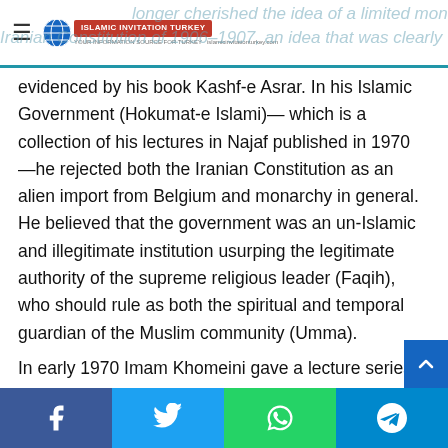Islamic Invitation Turkey
longer cherished the idea of a limited monarchy under the Iranian Constitution of 1906–1907, an idea that was clearly evidenced by his book Kashf-e Asrar. In his Islamic Government (Hokumat-e Islami)— which is a collection of his lectures in Najaf published in 1970 —he rejected both the Iranian Constitution as an alien import from Belgium and monarchy in general. He believed that the government was an un-Islamic and illegitimate institution usurping the legitimate authority of the supreme religious leader (Faqih), who should rule as both the spiritual and temporal guardian of the Muslim community (Umma).
In early 1970 Imam Khomeini gave a lecture series in Najaf on Islamic Government which later was published as a book titled variously Islamic Government or Guardianship of the Islamic Jurists (velayat-e faqih). This was his most famous and influential work and laid out his ideas on governance (at tha…
Facebook | Twitter | WhatsApp | Telegram